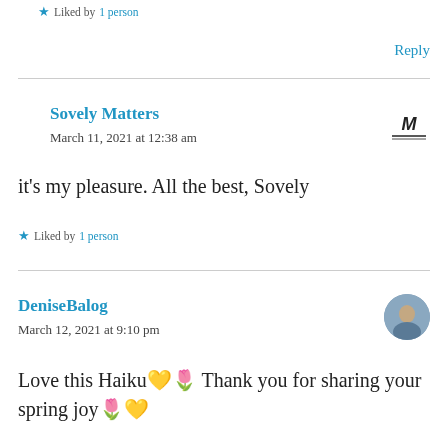★ Liked by 1 person
Reply
Sovely Matters
March 11, 2021 at 12:38 am
it's my pleasure. All the best, Sovely
★ Liked by 1 person
DeniseBalog
March 12, 2021 at 9:10 pm
Love this Haiku💛🌷 Thank you for sharing your spring joy🌷💛